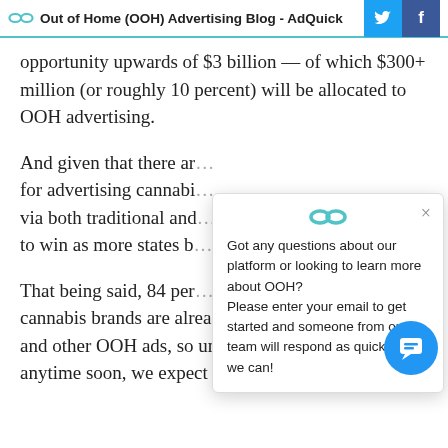Out of Home (OOH) Advertising Blog - AdQuick
opportunity upwards of $3 billion — of which $300+ million (or roughly 10 percent) will be allocated to OOH advertising.
And given that there ar… for advertising cannabi… via both traditional and… to win as more states b…
[Figure (screenshot): Chat popup widget with AdQuick logo, close button (×), and message: 'Got any questions about our platform or looking to learn more about OOH? Please enter your email to get started and someone from our team will respond as quickly as we can!']
That being said, 84 per… cannabis brands are already being spent on billboards and other OOH ads, so unless restrictions loose… anytime soon, we expect this trend to continue.